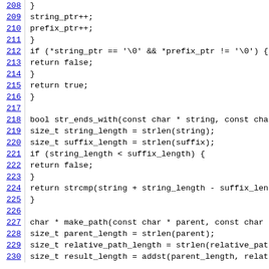Source code listing lines 208-230, C code for string utility functions str_ends_with and make_path.